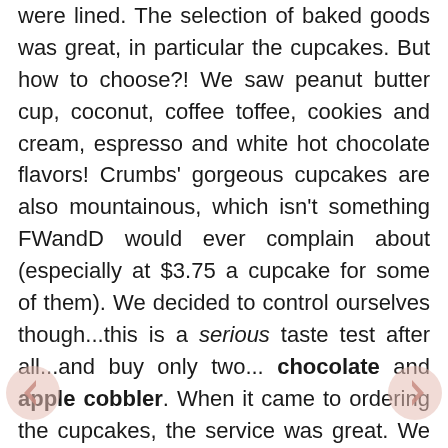were lined. The selection of baked goods was great, in particular the cupcakes. But how to choose?! We saw peanut butter cup, coconut, coffee toffee, cookies and cream, espresso and white hot chocolate flavors! Crumbs' gorgeous cupcakes are also mountainous, which isn't something FWandD would ever complain about (especially at $3.75 a cupcake for some of them). We decided to control ourselves though...this is a serious taste test after all...and buy only two... chocolate and apple cobbler. When it came to ordering the cupcakes, the service was great. We wished that the guy who served us had a name tag on his shirt or that his name would appear on the receipt so that we could give him a "FWandD shout-out" but, alas, this friendly, helpful gentleman remains anonymous. But all of the folks behind the counter were great;